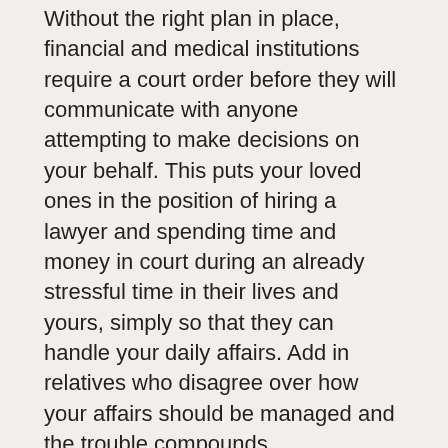Without the right plan in place, financial and medical institutions require a court order before they will communicate with anyone attempting to make decisions on your behalf. This puts your loved ones in the position of hiring a lawyer and spending time and money in court during an already stressful time in their lives and yours, simply so that they can handle your daily affairs. Add in relatives who disagree over how your affairs should be managed and the trouble compounds.
Whether you are married or single, regardless of your age, you should have a General Durable Power of Attorney, a Health Care Power of Attorney, and a HIPAA authorization.
A General Durable Power of Attorney allows you to name someone to manage your financial affairs in